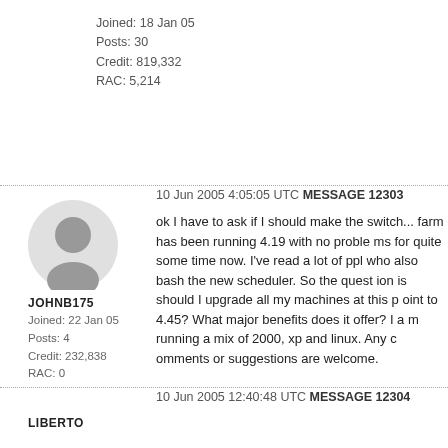Joined: 18 Jan 05
Posts: 30
Credit: 819,332
RAC: 5,214
10 Jun 2005 4:05:05 UTC MESSAGE 12303
ok I have to ask if I should make the switch... farm has been running 4.19 with no problems for quite some time now. I've read a lot of ppl who also bash the new scheduler. So the question is should I upgrade all my machines at this point to 4.45? What major benefits does it offer? I am running a mix of 2000, xp and linux. Any comments or suggestions are welcome.
JOHNB175
Joined: 22 Jan 05
Posts: 4
Credit: 232,838
RAC: 0
10 Jun 2005 12:40:48 UTC MESSAGE 12304
LIBERTO